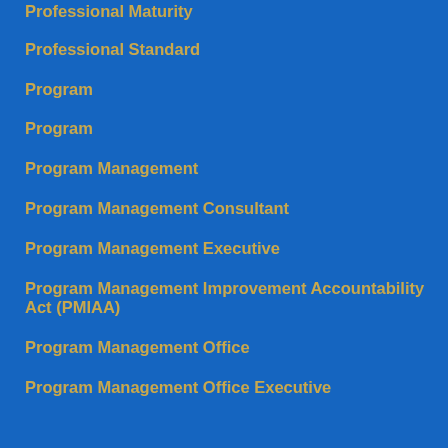Professional Maturity
Professional Standard
Program
Program
Program Management
Program Management Consultant
Program Management Executive
Program Management Improvement Accountability Act (PMIAA)
Program Management Office
Program Management Office Executive